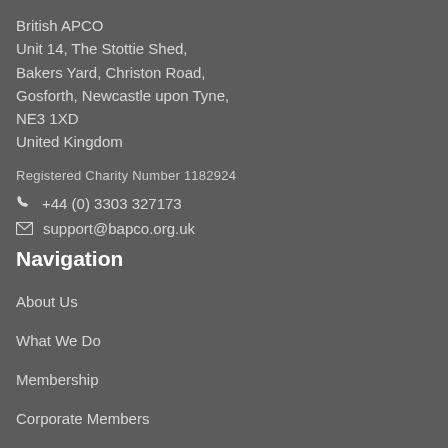British APCO
Unit 14, The Stottie Shed,
Bakers Yard, Christon Road,
Gosforth, Newcastle upon Tyne,
NE3 1XD
United Kingdom
Registered Charity Number 1182924
+44 (0) 3303 327173
support@bapco.org.uk
Navigation
About Us
What We Do
Membership
Corporate Members